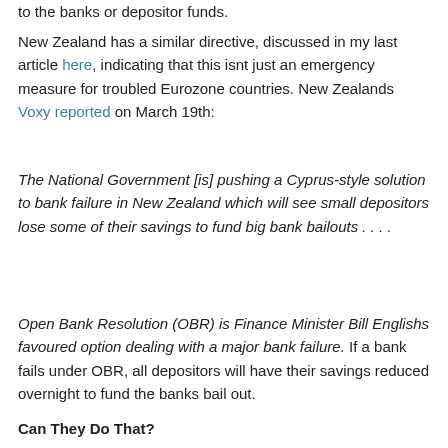to the banks or depositor funds.
New Zealand has a similar directive, discussed in my last article here, indicating that this isnt just an emergency measure for troubled Eurozone countries. New Zealands Voxy reported on March 19th:
The National Government [is] pushing a Cyprus-style solution to bank failure in New Zealand which will see small depositors lose some of their savings to fund big bank bailouts . . . .
Open Bank Resolution (OBR) is Finance Minister Bill Englishs favoured option dealing with a major bank failure. If a bank fails under OBR, all depositors will have their savings reduced overnight to fund the banks bail out.
Can They Do That?